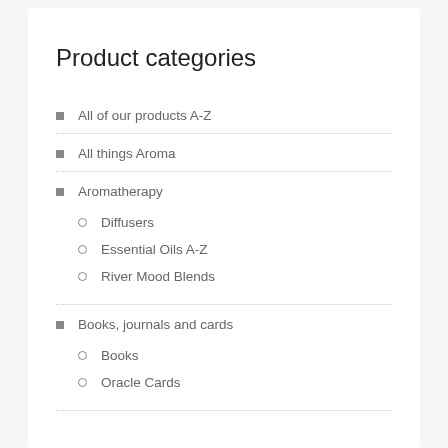Product categories
All of our products A-Z
All things Aroma
Aromatherapy
Diffusers
Essential Oils A-Z
River Mood Blends
Books, journals and cards
Books
Oracle Cards